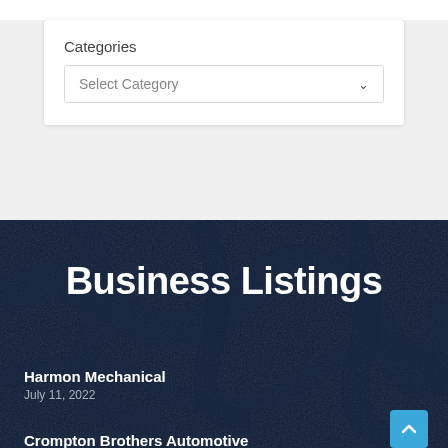Categories
Select Category
Business Listings
Harmon Mechanical
July 11, 2022
Crompton Brothers Automotive